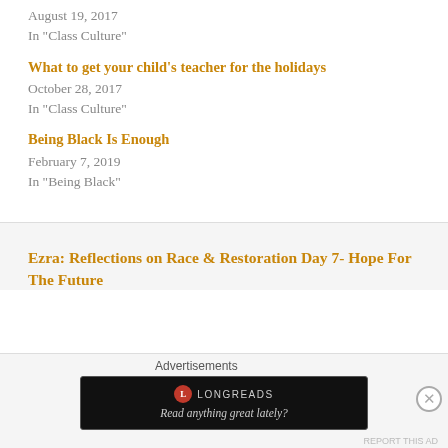August 19, 2017
In "Class Culture"
What to get your child's teacher for the holidays
October 28, 2017
In "Class Culture"
Being Black Is Enough
February 7, 2019
In "Being Black"
Ezra: Reflections on Race & Restoration Day 7- Hope For The Future
Advertisements
[Figure (screenshot): Longreads advertisement banner with dark background reading 'Read anything great lately?']